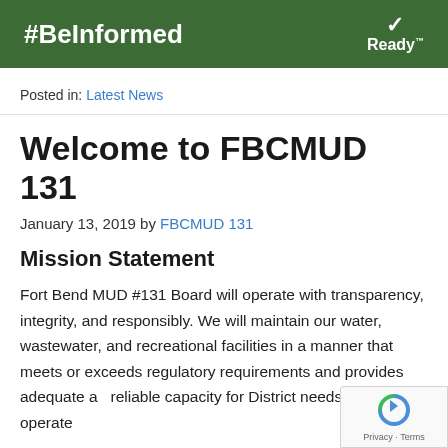[Figure (infographic): Dark green banner with white bold text '#BeInformed' on left and 'Ready' with checkmark icon on right]
Posted in: Latest News
Welcome to FBCMUD 131
January 13, 2019 by FBCMUD 131
Mission Statement
Fort Bend MUD #131 Board will operate with transparency, integrity, and responsibly. We will maintain our water, wastewater, and recreational facilities in a manner that meets or exceeds regulatory requirements and provides adequate and reliable capacity for District needs. We will operate